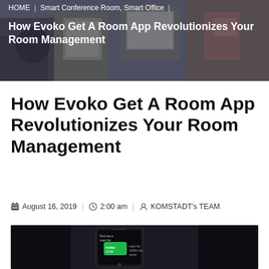HOME | Smart Conference Room, Smart Office
How Evoko Get A Room App Revolutionizes Your Room Management
How Evoko Get A Room App Revolutionizes Your Room Management
August 16, 2019 | 2:00 am | KOMSTADT's TEAM
[Figure (photo): Dark background photo showing a smartphone displaying a room booking app with green text reading 'Find me a room for today at 12:00 for 1h30m for some']